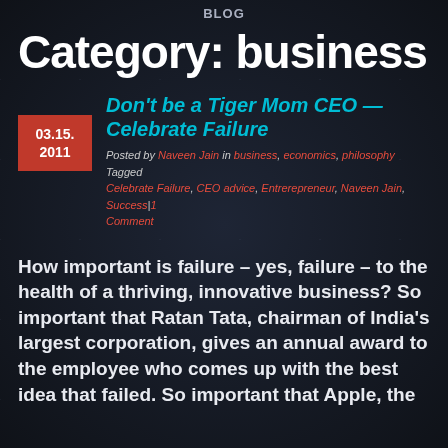Blog
Category: business
Don't be a Tiger Mom CEO — Celebrate Failure
Posted by Naveen Jain in business, economics, philosophy   Tagged Celebrate Failure, CEO advice, Entrerepreneur, Naveen Jain, Success|1 Comment
How important is failure – yes, failure – to the health of a thriving, innovative business? So important that Ratan Tata, chairman of India's largest corporation, gives an annual award to the employee who comes up with the best idea that failed. So important that Apple, the